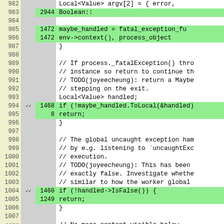[Figure (screenshot): Code coverage view showing source lines 982-1007 with line numbers, coverage tick marks, execution counts, and source code. Green highlighted lines indicate covered code. Lines with checkmarks and counts include: 983(2944), 985(1472), 986(1472), 994(1468), 995(8), 1004(1460), 1005(1249). Code includes C++ source with comments and conditionals related to fatal exception handling.]